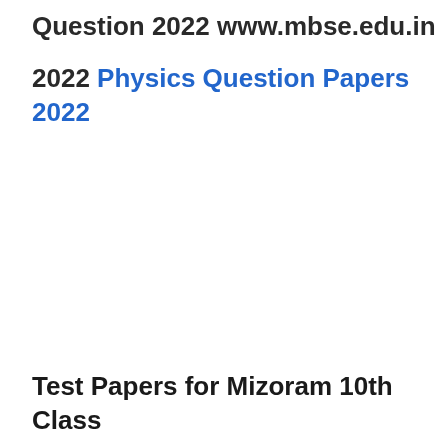Question 2022 www.mbse.edu.in
2022 Physics Question Papers 2022
Test Papers for Mizoram 10th Class